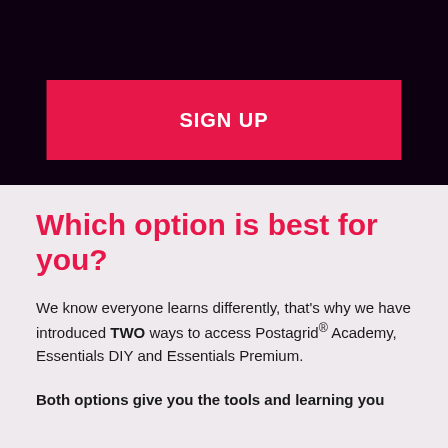SIGN UP
Which option is best for you?
We know everyone learns differently, that's why we have introduced TWO ways to access Postagrid® Academy, Essentials DIY and Essentials Premium.
Both options give you the tools and learning you